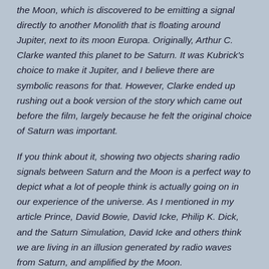the Moon, which is discovered to be emitting a signal directly to another Monolith that is floating around Jupiter, next to its moon Europa. Originally, Arthur C. Clarke wanted this planet to be Saturn. It was Kubrick's choice to make it Jupiter, and I believe there are symbolic reasons for that. However, Clarke ended up rushing out a book version of the story which came out before the film, largely because he felt the original choice of Saturn was important.
If you think about it, showing two objects sharing radio signals between Saturn and the Moon is a perfect way to depict what a lot of people think is actually going on in our experience of the universe. As I mentioned in my article Prince, David Bowie, David Icke, Philip K. Dick, and the Saturn Simulation, David Icke and others think we are living in an illusion generated by radio waves from Saturn, and amplified by the Moon.
In 2001, after the planets are shown aligning, with the monolith included, David Bowman presumably enters "the